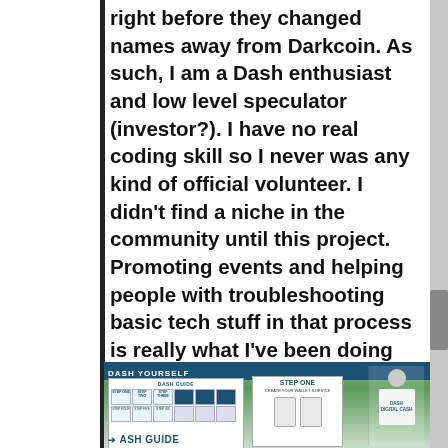right before they changed names away from Darkcoin. As such, I am a Dash enthusiast and low level speculator (investor?). I have no real coding skill so I never was any kind of official volunteer. I didn't find a niche in the community until this project. Promoting events and helping people with troubleshooting basic tech stuff in that process is really what I've been doing for a while. As a Dash fan, you can imagine my excitement when the proposal passed.
[Figure (photo): Outdoor event booth photo showing a person wearing a Dash t-shirt standing next to display boards including a 'Dash Guide' banner and 'Step One' instructions board, set up under a tent at an outdoor venue with trees visible in background.]